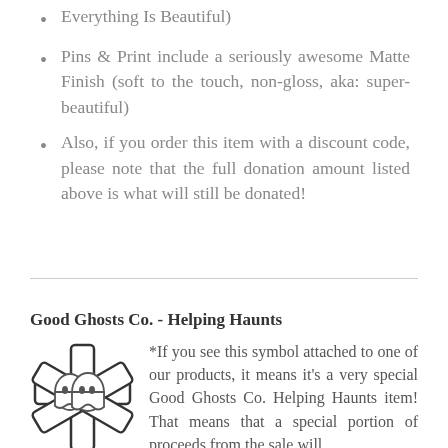Everything Is Beautiful)
Pins & Print include a seriously awesome Matte Finish (soft to the touch, non-gloss, aka: super-beautiful)
Also, if you order this item with a discount code, please note that the full donation amount listed above is what will still be donated!
Good Ghosts Co. - Helping Haunts
[Figure (illustration): Logo illustration of two cartoon ghosts overlapping a medical cross/star of life symbol, drawn in black and white line art style]
*If you see this symbol attached to one of our products, it means it's a very special Good Ghosts Co. Helping Haunts item! That means that a special portion of proceeds from the sale will